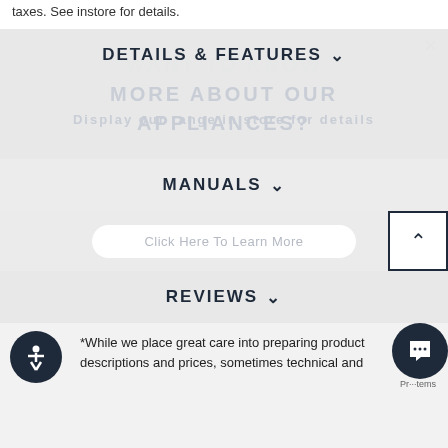taxes. See instore for details.
DETAILS & FEATURES
MANUALS
REVIEWS
*While we place great care into preparing product descriptions and prices, sometimes technical and